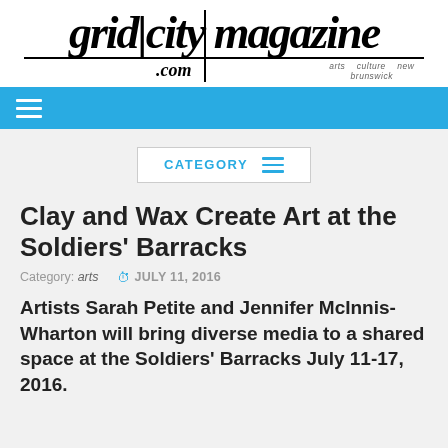[Figure (logo): Grid City Magazine logo with vertical bar dividing 'grid' and 'city magazine', with '.com' below and tagline 'arts culture new brunswick']
[Figure (infographic): Blue navigation bar with white hamburger menu icon]
[Figure (infographic): CATEGORY button with blue text and hamburger lines icon in a white bordered box]
Clay and Wax Create Art at the Soldiers' Barracks
Category: arts    JULY 11, 2016
Artists Sarah Petite and Jennifer McInnis-Wharton will bring diverse media to a shared space at the Soldiers' Barracks July 11-17, 2016.